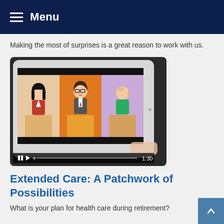Menu
Making the most of surprises is a great reason to work with us.
[Figure (screenshot): A tablet device displaying an animated video with three illustrated characters (woman in red, man in suit with glasses, bald man in green) against colored panel backgrounds (beige, orange, purple). Video controls at bottom show pause, play, seek bar, and time 1:30.]
Extended Care: A Patchwork of Possibilities
What is your plan for health care during retirement?